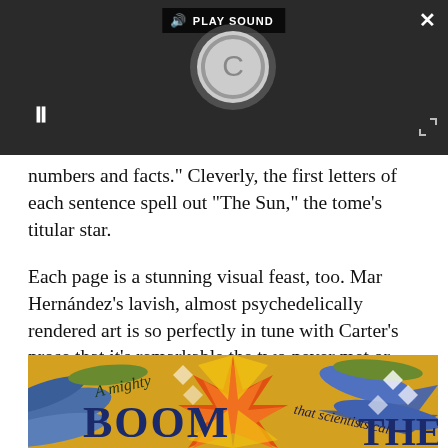[Figure (screenshot): Audio media player widget on dark background with play sound button, circular loading/dial graphic, pause button, close X button, and expand arrows icon]
numbers and facts." Cleverly, the first letters of each sentence spell out "The Sun," the tome's titular star.
Each page is a stunning visual feast, too. Mar Hernández's lavish, almost psychedelically rendered art is so perfectly in tune with Carter's prose that it's remarkable the two never met or talked.
[Figure (illustration): Colorful psychedelic book illustration showing the text 'A mighty BOOM that scientists call THE' in large bold letters with swirling abstract shapes in orange, yellow, blue and green]